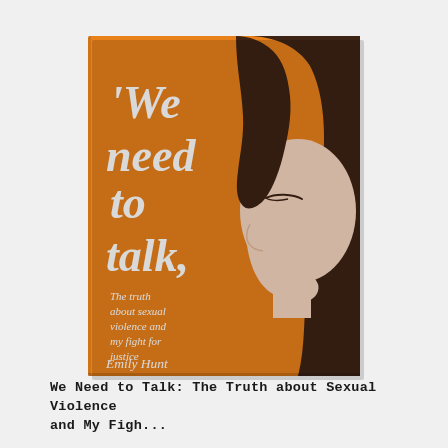[Figure (illustration): Book cover of 'We Need to Talk: The truth about sexual violence and my fight for justice' by Emily Hunt. Orange background with stylized illustration of a woman's profile in white and dark brown hair. Large white serif text for the title, smaller white text for subtitle, author name in white script at the bottom.]
We Need to Talk: The Truth about Sexual Violence and My Figh...